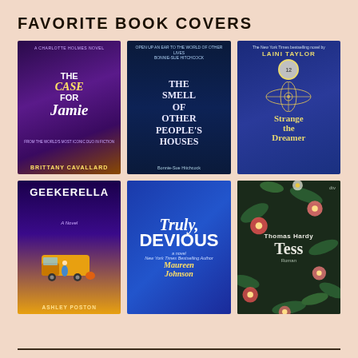FAVORITE BOOK COVERS
[Figure (illustration): Grid of 6 book covers: The Case for Jamie by Brittany Cavallard, The Smell of Other People's Houses by Bonnie-Sue Hitchcock, Strange the Dreamer by Laini Taylor, Geekerella by Ashley Poston, Truly Devious by Maureen Johnson, Tess by Thomas Hardy (Roman)]